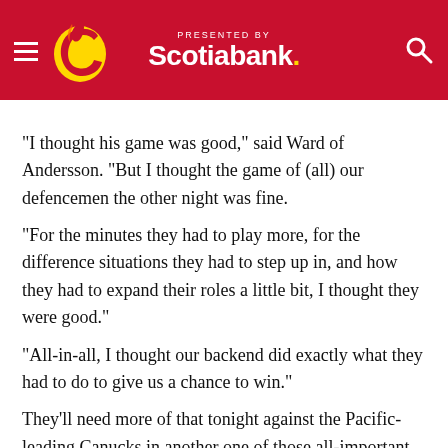PRESENTED BY Scotiabank. [Calgary Flames logo]
"I thought his game was good," said Ward of Andersson. "But I thought the game of (all) our defencemen the other night was fine.
"For the minutes they had to play more, for the difference situations they had to step up in, and how they had to expand their roles a little bit, I thought they were good."
"All-in-all, I thought our backend did exactly what they had to do to give us a chance to win."
They'll need more of that tonight against the Pacific-leading Canucks in another one of those all-important